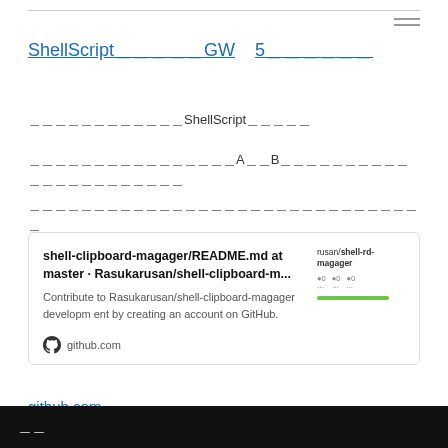ShellScript□□□□□GW　5□□□□□□
□□□□□□□□□□□□ShellScript□□□□□
□□□□□□□□□□□□□□□□□A□□B□□□□□□□□□□□□□□□□□□□□□□
□□□□□□□□□□□□□□□□□□□□□□□□□□□□□
[Figure (screenshot): GitHub card link preview for shell-clipboard-magager/README.md at master · Rasukarusan/shell-clipboard-m... with description 'Contribute to Rasukarusan/shell-clipboard-magager development by creating an account on GitHub.' and github.com footer with GitHub logo]
github.com